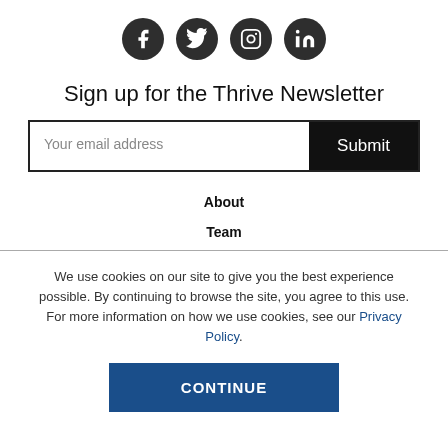[Figure (illustration): Four social media icon circles: Facebook, Twitter, Instagram, LinkedIn — dark grey filled circles with white icons]
Sign up for the Thrive Newsletter
Your email address [input field] Submit [button]
About
Team
We use cookies on our site to give you the best experience possible. By continuing to browse the site, you agree to this use. For more information on how we use cookies, see our Privacy Policy.
CONTINUE